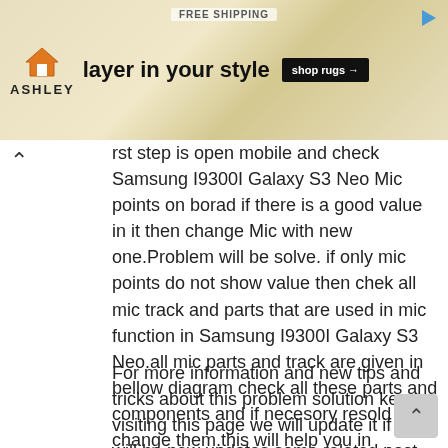[Figure (other): Ashley Furniture advertisement banner with 'FREE SHIPPING' text, house icon, 'ASHLEY' logo, 'layer in your style' text, and 'shop rugs →' button. Play icon in top right corner.]
rst step is open mobile and check Samsung I9300I Galaxy S3 Neo Mic points on borad if there is a good value in it then change Mic with new one.Problem will be solve. if only mic points do not show value then chek all mic track and parts that are used in mic function in Samsung I9300I Galaxy S3 Neo.all mic parts and track are given in bellow diagram check all these parts and components and if necesory resold or change them.this will help you in Samsung I9300I Galaxy S3 Neo Mic Solution Jumper Problem Ways Microphone
For more information and new tips and tricks about this problem solution keep visiting this page we will update it if there will be new updates.some related post are also given below you can read more about mobile phone.